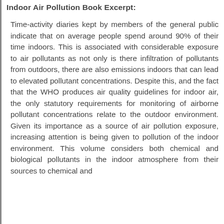Indoor Air Pollution Book Excerpt:
Time-activity diaries kept by members of the general public indicate that on average people spend around 90% of their time indoors. This is associated with considerable exposure to air pollutants as not only is there infiltration of pollutants from outdoors, there are also emissions indoors that can lead to elevated pollutant concentrations. Despite this, and the fact that the WHO produces air quality guidelines for indoor air, the only statutory requirements for monitoring of airborne pollutant concentrations relate to the outdoor environment. Given its importance as a source of air pollution exposure, increasing attention is being given to pollution of the indoor environment. This volume considers both chemical and biological pollutants in the indoor atmosphere from their sources to chemical and